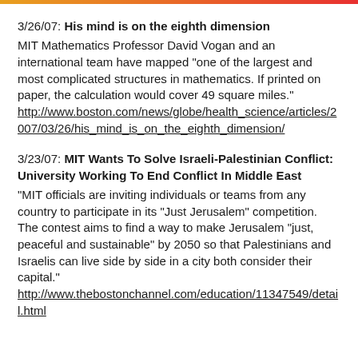3/26/07: His mind is on the eighth dimension — MIT Mathematics Professor David Vogan and an international team have mapped "one of the largest and most complicated structures in mathematics. If printed on paper, the calculation would cover 49 square miles." http://www.boston.com/news/globe/health_science/articles/2007/03/26/his_mind_is_on_the_eighth_dimension/
3/23/07: MIT Wants To Solve Israeli-Palestinian Conflict: University Working To End Conflict In Middle East — "MIT officials are inviting individuals or teams from any country to participate in its "Just Jerusalem" competition. The contest aims to find a way to make Jerusalem "just, peaceful and sustainable" by 2050 so that Palestinians and Israelis can live side by side in a city both consider their capital." http://www.thebostonchannel.com/education/11347549/detail.html